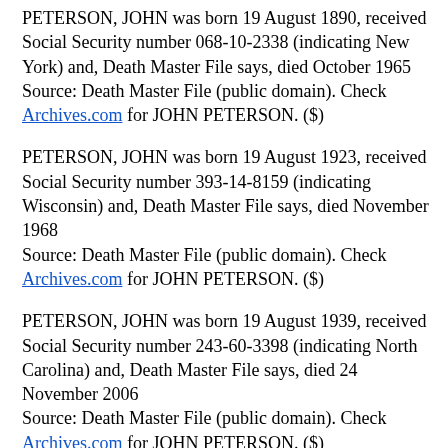PETERSON, JOHN was born 19 August 1890, received Social Security number 068-10-2338 (indicating New York) and, Death Master File says, died October 1965
Source: Death Master File (public domain). Check Archives.com for JOHN PETERSON. ($)
PETERSON, JOHN was born 19 August 1923, received Social Security number 393-14-8159 (indicating Wisconsin) and, Death Master File says, died November 1968
Source: Death Master File (public domain). Check Archives.com for JOHN PETERSON. ($)
PETERSON, JOHN was born 19 August 1939, received Social Security number 243-60-3398 (indicating North Carolina) and, Death Master File says, died 24 November 2006
Source: Death Master File (public domain). Check Archives.com for JOHN PETERSON. ($)
PETERSON, JOHN was born 19 December 1891,